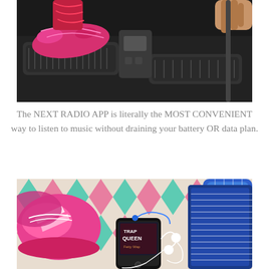[Figure (photo): Overhead view of person's feet in pink sneakers on elliptical machine pedals, with hands gripping the handlebar, dark gym equipment background]
The NEXT RADIO APP is literally the MOST CONVENIENT way to listen to music without draining your battery OR data plan.
[Figure (photo): Flat lay of pink Adidas running shoes, a smartphone showing 'Trap Queen' on a music app (Next Radio), white earbuds, blue water bottle, and a colorful geometric mat]